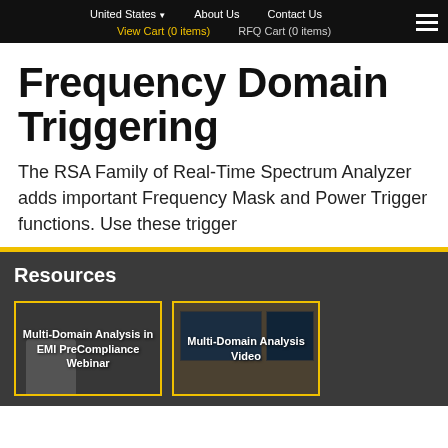United States  About Us  Contact Us  View Cart (0 items)  RFQ Cart (0 items)
Frequency Domain Triggering
The RSA Family of Real-Time Spectrum Analyzer adds important Frequency Mask and Power Trigger functions. Use these trigger
Resources
[Figure (screenshot): Resource card: Multi-Domain Analysis in EMI PreCompliance Webinar with presenter thumbnail]
[Figure (screenshot): Resource card: Multi-Domain Analysis Video with equipment screenshot thumbnail]